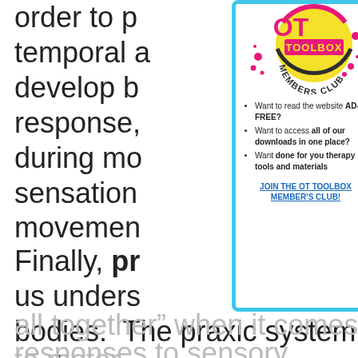order to p temporal a develop b response, during mo sensation movemen
[Figure (logo): OT Toolbox Members Club logo — circular yellow badge with pink/magenta OT letters, 'TOOLBOX' in pink on yellow, 'MEMBERS CLUB' in dark text around the bottom arc, with pink accent dots/splashes]
Want to read the website AD-FREE?
Want to access all of our downloads in one place?
Want done for you therapy tools and materials
JOIN THE OT TOOLBOX MEMBER'S CLUB!
Finally, pr us unders bodies.  The praxic system, or the kinesthetic system essentially “puts it all together” when it comes to motor responses to sensory information that